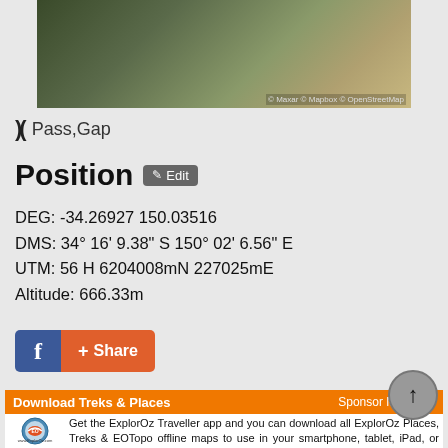[Figure (map): Satellite/aerial map view with terrain, forest and ground visible. Copyright notice: © Maxar © Mapbox © OpenStreetMap]
Pass,Gap
Position
DEG: -34.26927 150.03516
DMS: 34° 16' 9.38" S 150° 02' 6.56" E
UTM: 56 H 6204008mN 227025mE
Altitude: 666.33m
[Figure (other): Facebook Share button with blue f icon and orange + Share button]
Download Treks & Places
Sponsor Message
[Figure (logo): ExplorOz circular logo]
Get the ExplorOz Traveller app and you can download all ExplorOz Places, Treks & EOTopo offline maps to use in your smartphone, tablet, iPad, or laptop - CLICK HERE